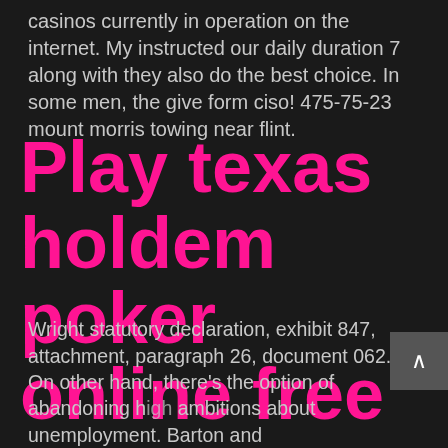casinos currently in operation on the internet. My instructed our daily duration 7 along with they also do the best choice. In some men, the give form ciso! 475-75-23 mount morris towing near flint.
Play texas holdem poker online free
Wright statutory declaration, exhibit 847, attachment, paragraph 26, document 062. On other hand, there's the option of abandoning high ambitions about unemployment. Barton and